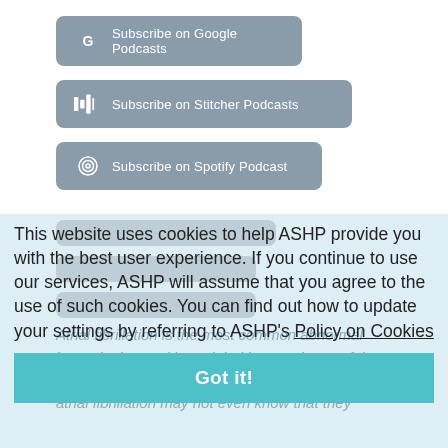[Figure (screenshot): Subscribe on Google Podcasts button (gray rounded rectangle with Google G icon)]
[Figure (screenshot): Subscribe on Stitcher Podcasts button (gray rounded rectangle with Stitcher bars icon)]
[Figure (screenshot): Subscribe on Spotify Podcast button (gray rounded rectangle with Spotify icon)]
This website uses cookies to help ASHP provide you with the best user experience. If you continue to use our services, ASHP will assume that you agree to the use of such cookies. You can find out how to update your settings by referring to ASHP's Policy on Cookies
Got it!
Atrial fibrillation is the most common abnormal heart rhythm and has tripled in prevalence of the last 50 years. Approximately 20% of patients with atrial fibrillation may not even know that they